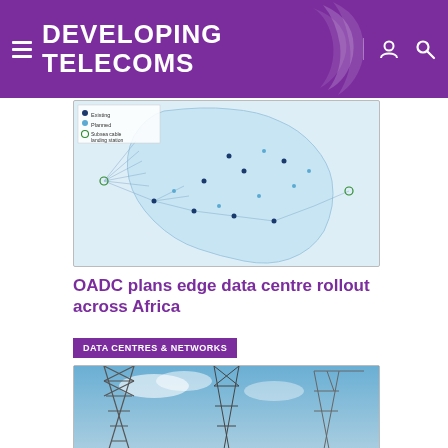DEVELOPING TELECOMS
[Figure (map): Map of Africa showing existing and planned fibre routes and subsea cable landing stations, with legend indicating existing (dark blue dots), planned (light blue dots), and subsea cable landing stations (green circles).]
OADC plans edge data centre rollout across Africa
DATA CENTRES & NETWORKS
[Figure (photo): Upward-looking photograph of telecommunications towers and pylons against a blue sky, showing metal lattice structures.]